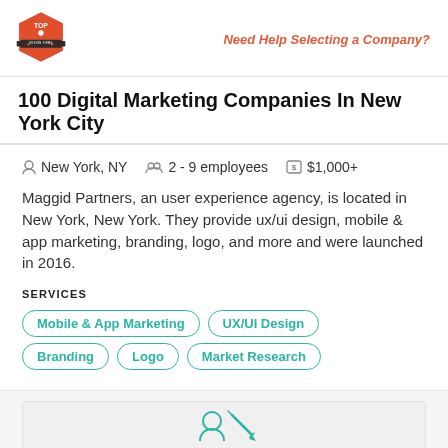Need Help Selecting a Company?
100 Digital Marketing Companies In New York City
New York, NY   2 - 9 employees   $1,000+
Maggid Partners, an user experience agency, is located in New York, New York. They provide ux/ui design, mobile &amp; app marketing, branding, logo, and more and were launched in 2016.
SERVICES
Mobile & App Marketing
UX/UI Design
Branding
Logo
Market Research
[Figure (illustration): Partial illustration of a person writing or designing, teal/cyan line art, partially visible at bottom of page]